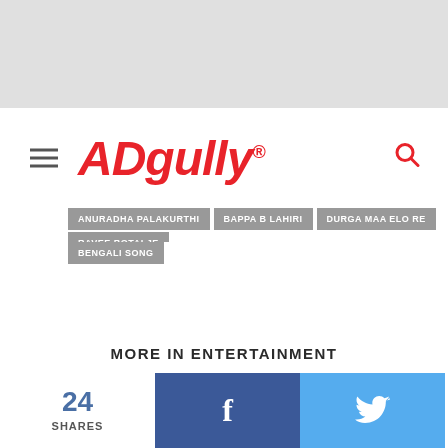[Figure (logo): ADgully logo in red italic script with registered trademark symbol]
ANURADHA PALAKURTHI
BAPPA B LAHIRI
DURGA MAA ELO RE
RAVEE BOTALJE
BENGALI SONG
MORE IN ENTERTAINMENT
24 SHARES